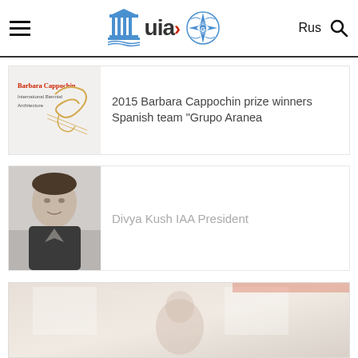UIA + UNESCO navigation header with Rus and search
[Figure (logo): Barbara Cappochin International Biennial Architecture logo with stylized signature]
2015 Barbara Cappochin prize winners Spanish team "Grupo Aranea
[Figure (photo): Portrait photo of Divya Kush, IAA President]
Divya Kush IAA President
[Figure (photo): Partial photo of a person, faded/light]